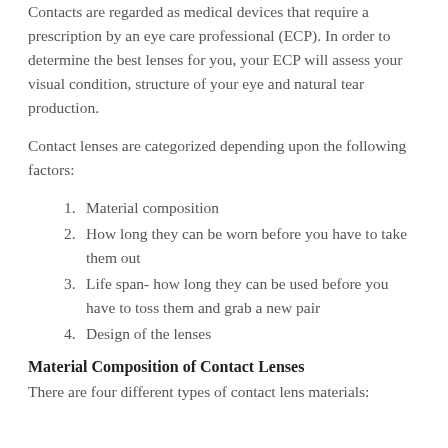Contacts are regarded as medical devices that require a prescription by an eye care professional (ECP). In order to determine the best lenses for you, your ECP will assess your visual condition, structure of your eye and natural tear production.
Contact lenses are categorized depending upon the following factors:
Material composition
How long they can be worn before you have to take them out
Life span- how long they can be used before you have to toss them and grab a new pair
Design of the lenses
Material Composition of Contact Lenses
There are four different types of contact lens materials: